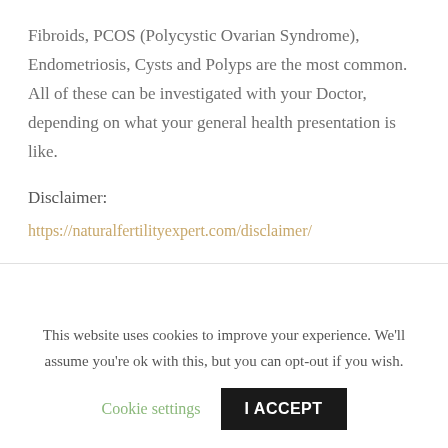Fibroids, PCOS (Polycystic Ovarian Syndrome), Endometriosis, Cysts and Polyps are the most common. All of these can be investigated with your Doctor, depending on what your general health presentation is like.
Disclaimer:
https://naturalfertilityexpert.com/disclaimer/
This website uses cookies to improve your experience. We'll assume you're ok with this, but you can opt-out if you wish.
Cookie settings | I ACCEPT